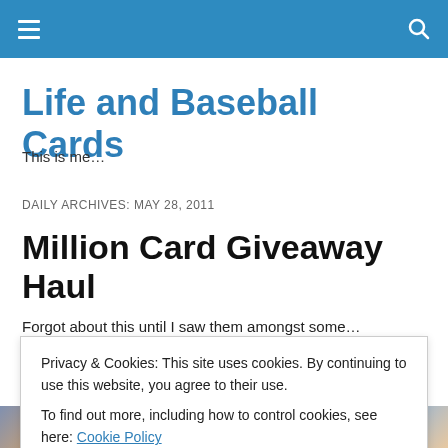Life and Baseball Cards [nav bar with hamburger menu and search icon]
Life and Baseball Cards
This is me…
DAILY ARCHIVES: MAY 28, 2011
Million Card Giveaway Haul
Forgot about this until I saw them amongst some…
Privacy & Cookies: This site uses cookies. By continuing to use this website, you agree to their use.
To find out more, including how to control cookies, see here: Cookie Policy
[Close and accept]
[Figure (photo): Strip of baseball card images at the bottom of the page]